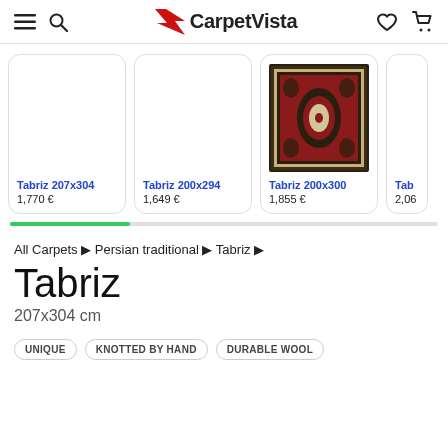CarpetVista
[Figure (photo): Tabriz carpet product thumbnail - Persian traditional red/dark rug with oval medallion pattern]
Tabriz 207x304
1,770 €
Tabriz 200x294
1,649 €
Tabriz 200x300
1,855 €
Tab...
2,06...
All Carpets ▶ Persian traditional ▶ Tabriz ▶
Tabriz
207x304 cm
UNIQUE   KNOTTED BY HAND   DURABLE WOOL